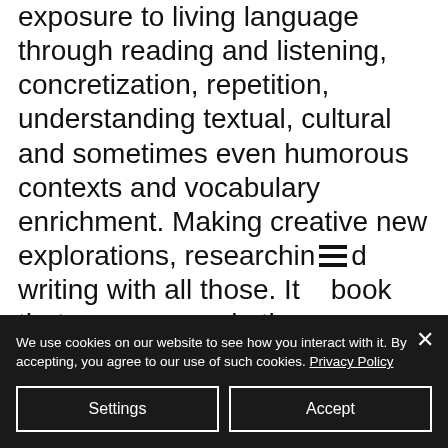exposure to living language through reading and listening, concretization, repetition, understanding textual, cultural and sometimes even humorous contexts and vocabulary enrichment. Making creative new explorations, researching and writing with all those. It is a book that you can use in the process of improving your Turkish or you can enjoy it when you feel that you need to
We use cookies on our website to see how you interact with it. By accepting, you agree to our use of such cookies. Privacy Policy